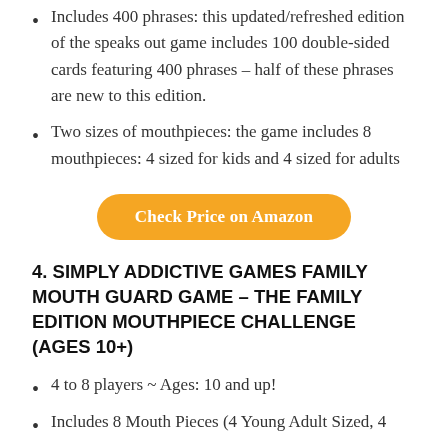Includes 400 phrases: this updated/refreshed edition of the speaks out game includes 100 double-sided cards featuring 400 phrases – half of these phrases are new to this edition.
Two sizes of mouthpieces: the game includes 8 mouthpieces: 4 sized for kids and 4 sized for adults
[Figure (other): Orange rounded rectangle button with white text: Check Price on Amazon]
4. SIMPLY ADDICTIVE GAMES FAMILY MOUTH GUARD GAME – THE FAMILY EDITION MOUTHPIECE CHALLENGE (AGES 10+)
4 to 8 players ~ Ages: 10 and up!
Includes 8 Mouth Pieces (4 Young Adult Sized, 4...